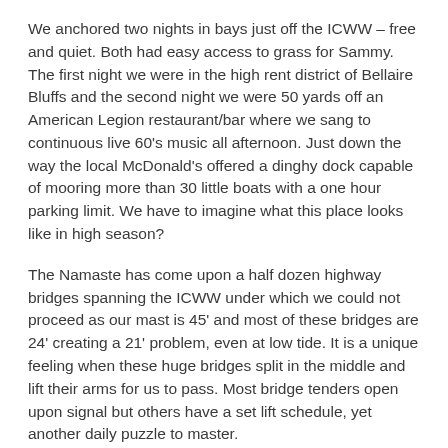We anchored two nights in bays just off the ICWW – free and quiet. Both had easy access to grass for Sammy. The first night we were in the high rent district of Bellaire Bluffs and the second night we were 50 yards off an American Legion restaurant/bar where we sang to continuous live 60's music all afternoon. Just down the way the local McDonald's offered a dinghy dock capable of mooring more than 30 little boats with a one hour parking limit. We have to imagine what this place looks like in high season?
The Namaste has come upon a half dozen highway bridges spanning the ICWW under which we could not proceed as our mast is 45' and most of these bridges are 24' creating a 21' problem, even at low tide. It is a unique feeling when these huge bridges split in the middle and lift their arms for us to pass. Most bridge tenders open upon signal but others have a set lift schedule, yet another daily puzzle to master.
On December 9th as we drank our coffee and remembered the birth day of our lovely granddaughter Lexi (17), we were greeted